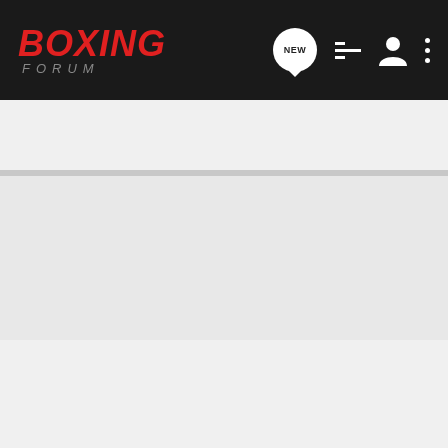BOXING FORUM
Search Community
Boxing Forum Lounge
Home  About Us  Terms of Use  Privacy Policy  Help  Business Directory  Contact Us  |  Grow Your Business  NEW  RSS
VerticalScope Inc., 111 Peter Street, Suite 600, Toronto, Ontario, M5V 2H1, Canada
The Fora platform includes forum software by XenForo